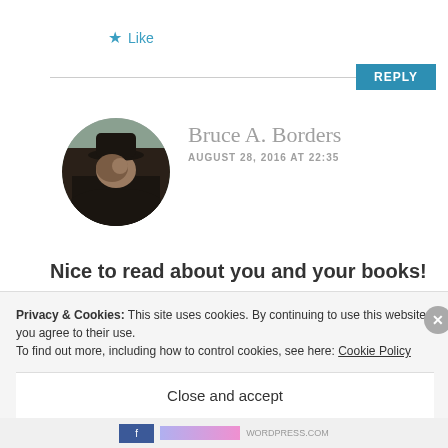★ Like
REPLY
[Figure (photo): Circular avatar photo of a man wearing a black cowboy hat, dressed in dark clothing, outdoors.]
Bruce A. Borders
AUGUST 28, 2016 AT 22:35
Nice to read about you and your books!
★ Liked by 1 person
Privacy & Cookies: This site uses cookies. By continuing to use this website, you agree to their use.
To find out more, including how to control cookies, see here: Cookie Policy
Close and accept